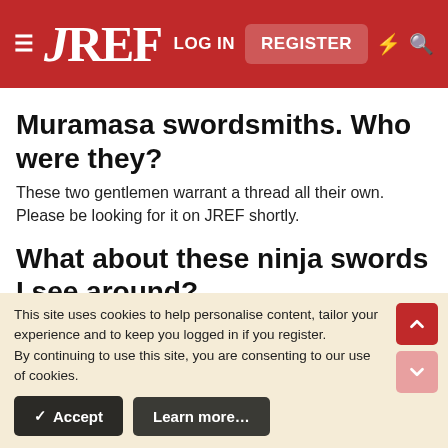JREF — LOG IN  REGISTER
Muramasa swordsmiths. Who were they?
These two gentlemen warrant a thread all their own. Please be looking for it on JREF shortly.
What about these ninja swords I see around?
There was no such thing as straight bladed ninja swords. There are a product of Hollywood and the media. A sure way to spot
This site uses cookies to help personalise content, tailor your experience and to keep you logged in if you register.
By continuing to use this site, you are consenting to our use of cookies.